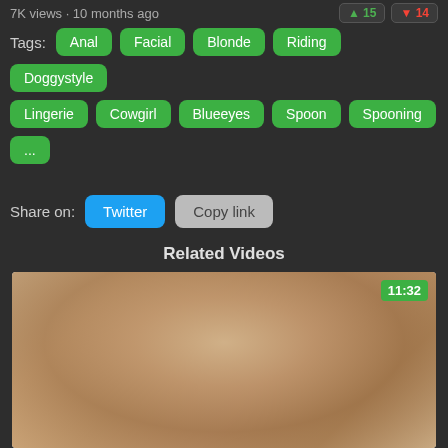7K views · 10 months ago
Tags: Anal Facial Blonde Riding Doggystyle Lingerie Cowgirl Blueeyes Spoon Spooning ...
Share on: Twitter  Copy link
Related Videos
[Figure (photo): Video thumbnail showing duration 11:32]